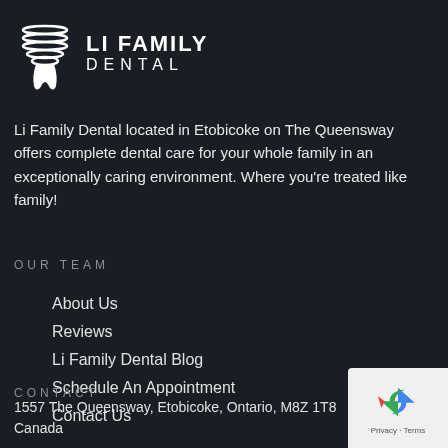[Figure (logo): Li Family Dental logo with stylized tooth icon and text LI FAMILY DENTAL]
Li Family Dental located in Etobicoke on The Queensway offers complete dental care for your whole family in an exceptionally caring environment. Where you’re treated like family!
OUR TEAM
About Us
Reviews
Li Family Dental Blog
Schedule An Appointment
Contact Us
CONTACT
1557 The Queensway, Etobicoke, Ontario, M8Z 1T8
Canada
[Figure (other): reCAPTCHA badge with Privacy - Terms text]